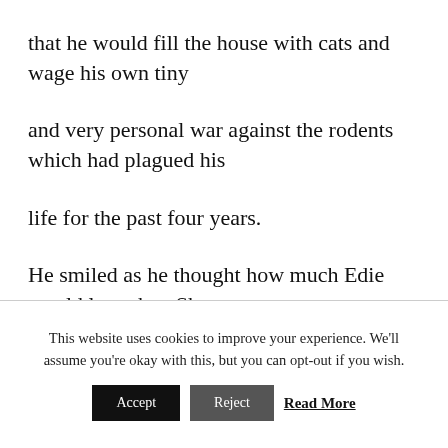that he would fill the house with cats and wage his own tiny
and very personal war against the rodents which had plagued his
life for the past four years.
He smiled as he thought how much Edie would love that. She
This website uses cookies to improve your experience. We'll assume you're okay with this, but you can opt-out if you wish.